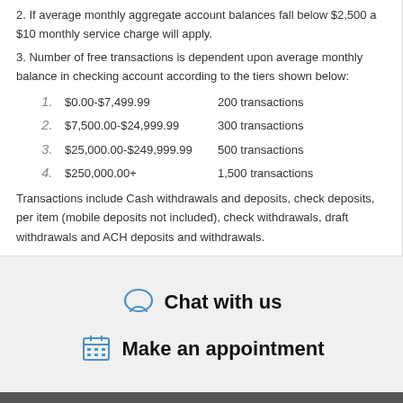2. If average monthly aggregate account balances fall below $2,500 a $10 monthly service charge will apply.
3. Number of free transactions is dependent upon average monthly balance in checking account according to the tiers shown below:
1. $0.00-$7,499.99   200 transactions
2. $7,500.00-$24,999.99   300 transactions
3. $25,000.00-$249,999.99   500 transactions
4. $250,000.00+   1,500 transactions
Transactions include Cash withdrawals and deposits, check deposits, per item (mobile deposits not included), check withdrawals, draft withdrawals and ACH deposits and withdrawals.
Chat with us
Make an appointment